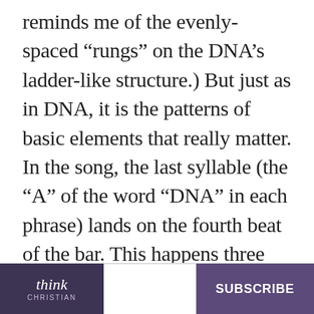reminds me of the evenly-spaced “rungs” on the DNA’s ladder-like structure.) But just as in DNA, it is the patterns of basic elements that really matter. In the song, the last syllable (the “A” of the word “DNA” in each phrase) lands on the fourth beat of the bar. This happens three more times. Because we hear this pattern four times in a row, as well as the word “DNA” in every phrase on the exact same beat, we hear these four phrases as one unit. In short, we
think CHRISTIAN   SUBSCRIBE